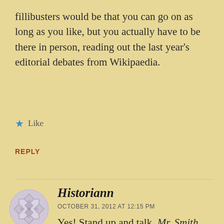fillibusters would be that you can go on as long as you like, but you actually have to be there in person, reading out the last year's editorial debates from Wikipaedia.
★ Like
REPLY
[Figure (illustration): Circular avatar/gravatar icon with geometric pattern in grey and white]
Historiann
OCTOBER 31, 2012 AT 12:15 PM
Yes! Stand up and talk, Mr. Smith Goes to Washington-style, or go home. Stopping